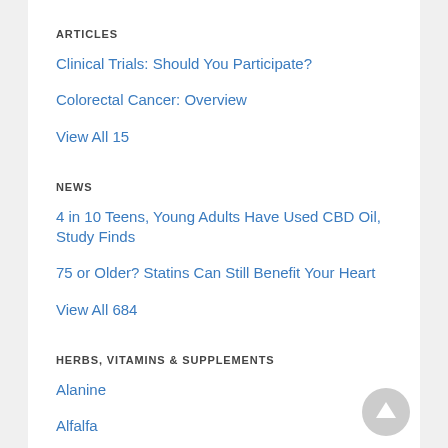ARTICLES
Clinical Trials: Should You Participate?
Colorectal Cancer: Overview
View All 15
NEWS
4 in 10 Teens, Young Adults Have Used CBD Oil, Study Finds
75 or Older? Statins Can Still Benefit Your Heart
View All 684
HERBS, VITAMINS & SUPPLEMENTS
Alanine
Alfalfa
View All 5